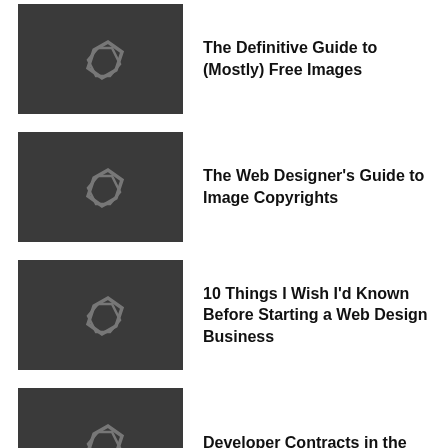The Definitive Guide to (Mostly) Free Images
The Web Designer's Guide to Image Copyrights
10 Things I Wish I'd Known Before Starting a Web Design Business
Developer Contracts in the